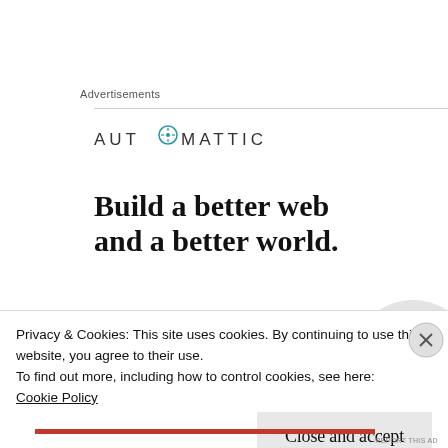Advertisements
[Figure (logo): Automattic logo with compass icon between the two T letters, all caps text in gray]
Build a better web and a better world.
We cook and bake a lot in the Moore family
Privacy & Cookies: This site uses cookies. By continuing to use this website, you agree to their use.
To find out more, including how to control cookies, see here:
Cookie Policy
Close and accept